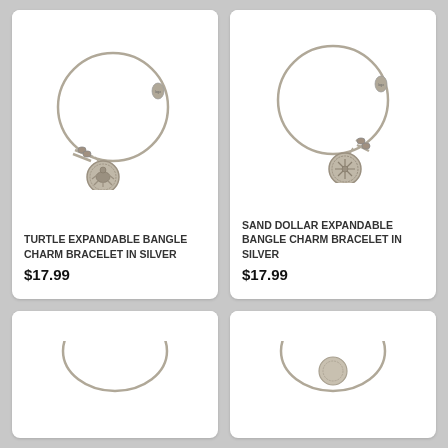[Figure (photo): Turtle expandable bangle charm bracelet in silver — circular silver wire bangle with turtle charm medallion and small teardrop logo tag]
TURTLE EXPANDABLE BANGLE CHARM BRACELET IN SILVER
$17.99
[Figure (photo): Sand dollar expandable bangle charm bracelet in silver — circular silver wire bangle with sand dollar charm medallion and small teardrop logo tag]
SAND DOLLAR EXPANDABLE BANGLE CHARM BRACELET IN SILVER
$17.99
[Figure (photo): Partial view of a third bracelet card at the bottom left — only top portion visible]
[Figure (photo): Partial view of a fourth bracelet card at the bottom right — only top portion with bracelet visible]